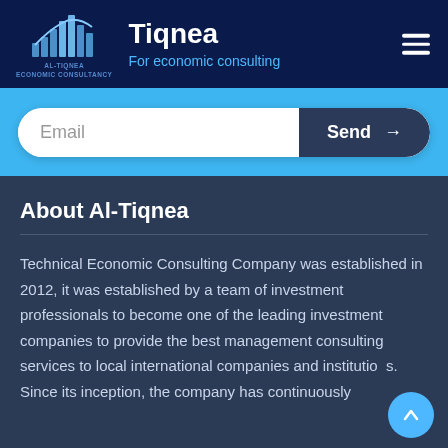Tiqnea — For economic consulting
[Figure (logo): Al-Tiqnea Economic Consultancy logo with bar chart icon and company name]
Email
Send →
About Al-Tiqnea
Technical Economic Consulting Company was established in 2012, it was established by a team of investment professionals to become one of the leading investment companies to provide the best management consulting services to local international companies and institutions. Since its inception, the company has continuously